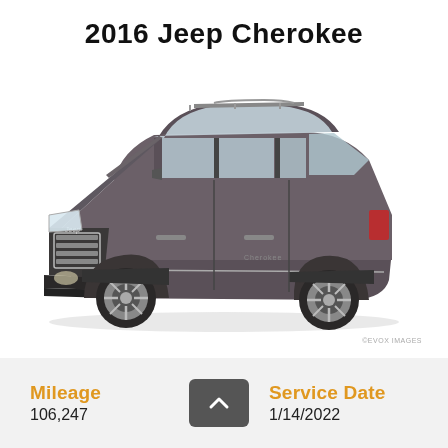2016 Jeep Cherokee
[Figure (photo): Stock photo of a 2016 Jeep Cherokee in dark grey/granite color, three-quarter front view on white background. Watermark: ©EVOX IMAGES]
Mileage
106,247
Service Date
1/14/2022